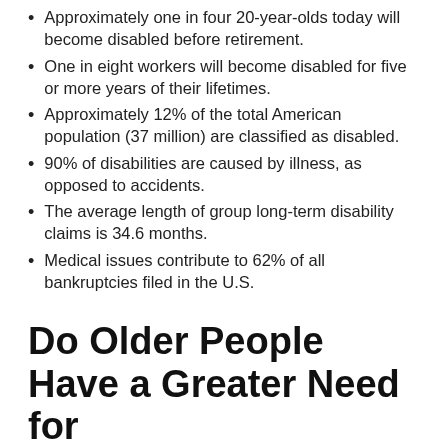Approximately one in four 20-year-olds today will become disabled before retirement.
One in eight workers will become disabled for five or more years of their lifetimes.
Approximately 12% of the total American population (37 million) are classified as disabled.
90% of disabilities are caused by illness, as opposed to accidents.
The average length of group long-term disability claims is 34.6 months.
Medical issues contribute to 62% of all bankruptcies filed in the U.S.
Do Older People Have a Greater Need for